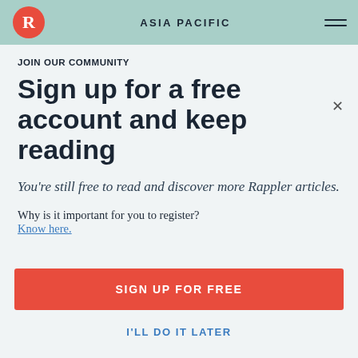ASIA PACIFIC
JOIN OUR COMMUNITY
Sign up for a free account and keep reading
You're still free to read and discover more Rappler articles.
Why is it important for you to register?
Know here.
SIGN UP FOR FREE
I'LL DO IT LATER